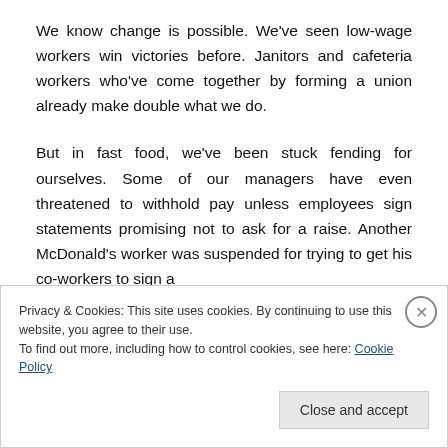We know change is possible. We've seen low-wage workers win victories before. Janitors and cafeteria workers who've come together by forming a union already make double what we do.
But in fast food, we've been stuck fending for ourselves. Some of our managers have even threatened to withhold pay unless employees sign statements promising not to ask for a raise. Another McDonald's worker was suspended for trying to get his co-workers to sign a
Privacy & Cookies: This site uses cookies. By continuing to use this website, you agree to their use.
To find out more, including how to control cookies, see here: Cookie Policy